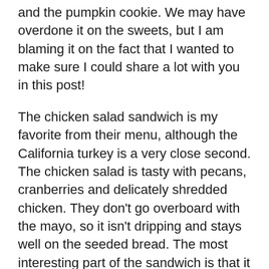and the pumpkin cookie. We may have overdone it on the sweets, but I am blaming it on the fact that I wanted to make sure I could share a lot with you in this post!
The chicken salad sandwich is my favorite from their menu, although the California turkey is a very close second. The chicken salad is tasty with pecans, cranberries and delicately shredded chicken. They don't go overboard with the mayo, so it isn't dripping and stays well on the seeded bread. The most interesting part of the sandwich is that it isn't just chicken salad. They add Havarti cheese, arugula, tomato and mustard. I would have never thought to put cheese and mustard on a chicken salad sandwich, but it definitely